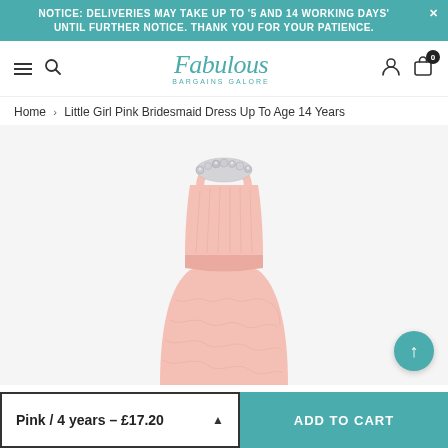NOTICE: DELIVERIES MAY TAKE UP TO '5 AND 14 WORKING DAYS' UNTIL FURTHER NOTICE. THANK YOU FOR YOUR PATIENCE.
[Figure (logo): Fabulous Bargains Galore logo in teal italic script font with navigation icons (hamburger, search, user, cart with badge 0)]
Home › Little Girl Pink Bridesmaid Dress Up To Age 14 Years
[Figure (photo): Pink chiffon bridesmaid dress for girls with beaded jewelled neckline, pleated bodice and skirt, cropped to show torso]
Pink / 4 years - £17.20   ADD TO CART